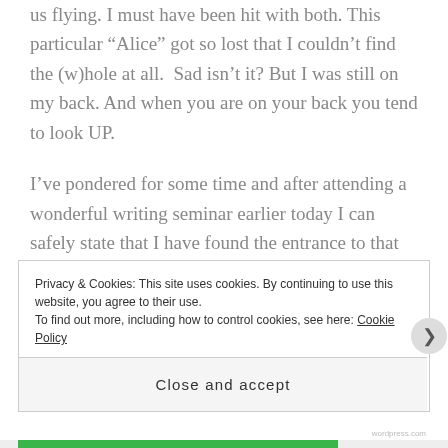us flying. I must have been hit with both. This particular “Alice” got so lost that I couldn’t find the (w)hole at all.  Sad isn’t it? But I was still on my back. And when you are on your back you tend to look UP.
I’ve pondered for some time and after attending a wonderful writing seminar earlier today I can safely state that I have found the entrance to that (w)hole. Yay! Now for the changes…..
I have been saving photos to share since my last actual written post. I promise not to weigh ya’ll
Privacy & Cookies: This site uses cookies. By continuing to use this website, you agree to their use.
To find out more, including how to control cookies, see here: Cookie Policy
Close and accept